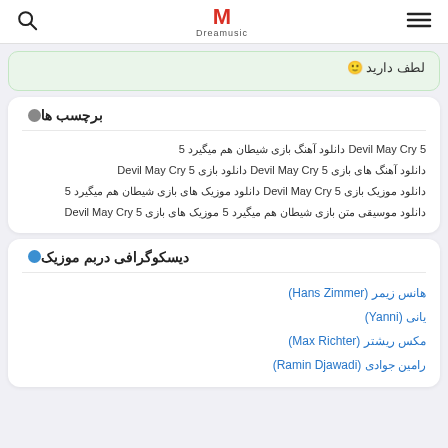Dreamusic
لطف دارید 🙂
برچسب ها
Devil May Cry 5 دانلود آهنگ بازی شیطان هم میگیرد 5
دانلود آهنگ های بازی Devil May Cry 5 دانلود بازی Devil May Cry 5
دانلود موزیک بازی Devil May Cry 5 دانلود موزیک های بازی شیطان هم میگیرد 5
دانلود موسیقی متن بازی شیطان هم میگیرد 5 موزیک های بازی Devil May Cry 5
دیسکوگرافی دربم موزیک
هانس زیمر (Hans Zimmer)
یانی (Yanni)
مکس ریشتر (Max Richter)
رامین جوادی (Ramin Djawadi)